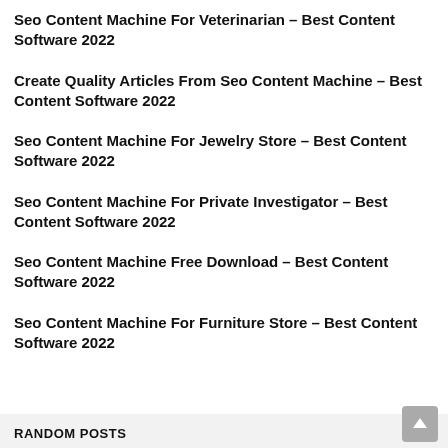Seo Content Machine For Veterinarian – Best Content Software 2022
Create Quality Articles From Seo Content Machine – Best Content Software 2022
Seo Content Machine For Jewelry Store – Best Content Software 2022
Seo Content Machine For Private Investigator – Best Content Software 2022
Seo Content Machine Free Download – Best Content Software 2022
Seo Content Machine For Furniture Store – Best Content Software 2022
RANDOM POSTS